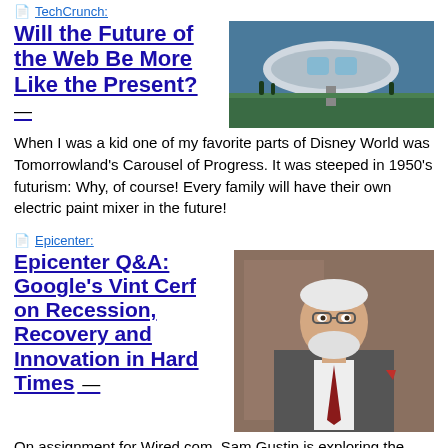TechCrunch:
Will the Future of the Web Be More Like the Present?
[Figure (photo): Futuristic pod/vehicle concept art image]
When I was a kid one of my favorite parts of Disney World was Tomorrowland's Carousel of Progress. It was steeped in 1950's futurism: Why, of course!  Every family will have their own electric paint mixer in the future!
Epicenter:
Epicenter Q&A: Google's Vint Cerf on Recession, Recovery and Innovation in Hard Times
[Figure (photo): Photo of Vint Cerf, older man with white beard wearing a suit]
On assignment for Wired.com, Sam Gustin is exploring the economic meltdown's impact on Silicon Valley, and the prospects of innovating our way out of the current financial debacle.
Ben Worthen /